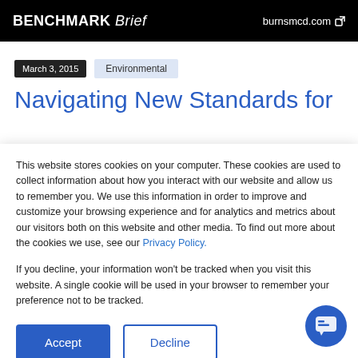BENCHMARK Brief | burnsmcd.com
March 3, 2015   Environmental
Navigating New Standards for
This website stores cookies on your computer. These cookies are used to collect information about how you interact with our website and allow us to remember you. We use this information in order to improve and customize your browsing experience and for analytics and metrics about our visitors both on this website and other media. To find out more about the cookies we use, see our Privacy Policy.
If you decline, your information won't be tracked when you visit this website. A single cookie will be used in your browser to remember your preference not to be tracked.